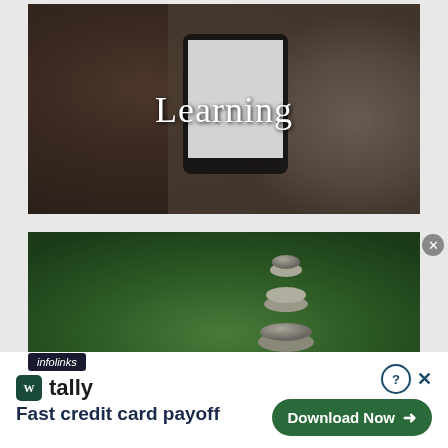[Figure (photo): Person reclining and holding an e-reader/tablet, with the word 'Learning' overlaid in white serif font on a dark-tinted background]
[Figure (photo): Stacked zen stones/pebbles on a green bokeh background]
infolinks
[Figure (other): Advertisement banner for Tally app - 'Fast credit card payoff' with a 'Download Now' button and close/question icons]